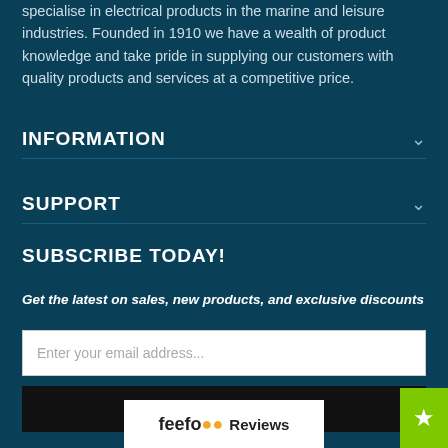specialise in electrical products in the marine and leisure industries. Founded in 1910 we have a wealth of product knowledge and take pride in supplying our customers with quality products and services at a competitive price.
INFORMATION
SUPPORT
SUBSCRIBE TODAY!
Get the latest on sales, new products, and exclusive discounts
Enter your email address...
SIGN UP
[Figure (logo): Feefo Reviews logo with orange eyes icon]